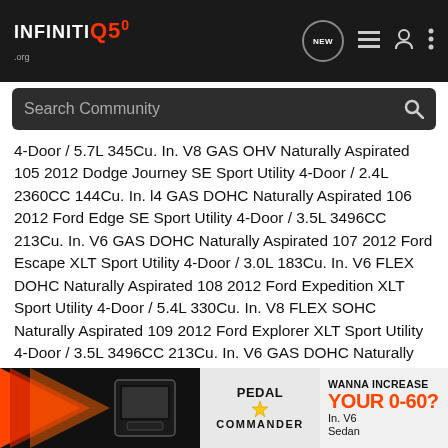INFINITI Q50 .org
Search Community
4-Door / 5.7L 345Cu. In. V8 GAS OHV Naturally Aspirated 105 2012 Dodge Journey SE Sport Utility 4-Door / 2.4L 2360CC 144Cu. In. l4 GAS DOHC Naturally Aspirated 106 2012 Ford Edge SE Sport Utility 4-Door / 3.5L 3496CC 213Cu. In. V6 GAS DOHC Naturally Aspirated 107 2012 Ford Escape XLT Sport Utility 4-Door / 3.0L 183Cu. In. V6 FLEX DOHC Naturally Aspirated 108 2012 Ford Expedition XLT Sport Utility 4-Door / 5.4L 330Cu. In. V8 FLEX SOHC Naturally Aspirated 109 2012 Ford Explorer XLT Sport Utility 4-Door / 3.5L 3496CC 213Cu. In. V6 GAS DOHC Naturally Aspirated 110 2012 Ford F-150 XL Standard Cab Pickup 2-Door / 3.5L 3496CC 213Cu. In. V6 GAS DOHC Turbocharged XLT Standard Cab Pickup 2-Door / 3.5L 3496CC 213Cu. In. V6 GAS DOHC Turbocharged 111 2012 Ford Fle In. V6 GAS DO Sedan
[Figure (infographic): Advertisement banner: Pedal Commander device ad with arrow graphic and 'WANNA INCREASE YOUR 0-60?' text]